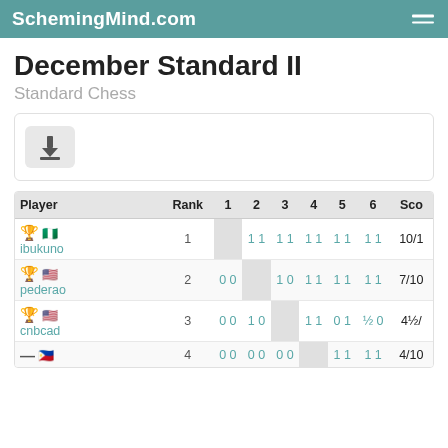SchemingMind.com
December Standard II
Standard Chess
[Figure (other): Download button icon]
| Player | Rank | 1 | 2 | 3 | 4 | 5 | 6 | Sco |
| --- | --- | --- | --- | --- | --- | --- | --- | --- |
| 🏆 🇳🇬 ibukuno | 1 |  | 1 1 | 1 1 | 1 1 | 1 1 | 1 1 | 10/1 |
| 🥈 🇺🇸 pederao | 2 | 0 0 |  | 1 0 | 1 1 | 1 1 | 1 1 | 7/10 |
| 🏆 🇺🇸 cnbcad | 3 | 0 0 | 1 0 |  | 1 1 | 0 1 | ½ 0 | 4½/ |
| — 🇵🇭 | 4 | 0 0 | 0 0 | 0 0 |  | 1 1 | 1 1 | 4/10 |